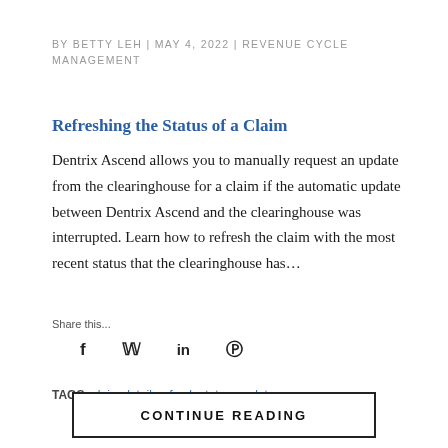BY BETTY LEH | MAY 4, 2022 | REVENUE CYCLE MANAGEMENT
Refreshing the Status of a Claim
Dentrix Ascend allows you to manually request an update from the clearinghouse for a claim if the automatic update between Dentrix Ascend and the clearinghouse was interrupted. Learn how to refresh the claim with the most recent status that the clearinghouse has…
Share this...
TAGS: claim detail, refresh status, update